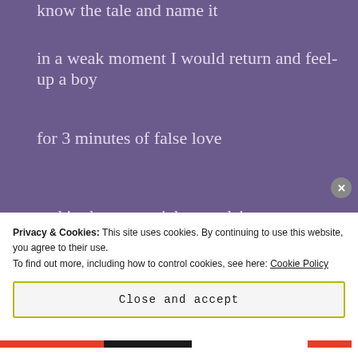know the tale and name it
in a weak moment I would return and feel-up a boy
for 3 minutes of false love
and in that wet, sticky repulsion
[Figure (other): Pressable advertisement: The Platform Where WordPress Works Best]
hate myself even more
Privacy & Cookies: This site uses cookies. By continuing to use this website, you agree to their use.
To find out more, including how to control cookies, see here: Cookie Policy
Close and accept